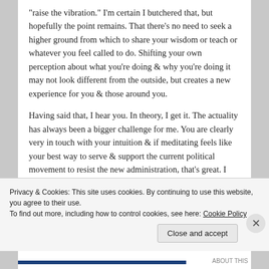"raise the vibration." I'm certain I butchered that, but hopefully the point remains. That there's no need to seek a higher ground from which to share your wisdom or teach or whatever you feel called to do. Shifting your own perception about what you're doing & why you're doing it may not look different from the outside, but creates a new experience for you & those around you.
Having said that, I hear you. In theory, I get it. The actuality has always been a bigger challenge for me. You are clearly very in touch with your intuition & if meditating feels like your best way to serve & support the current political movement to resist the new administration, that's great. I also remember
Privacy & Cookies: This site uses cookies. By continuing to use this website, you agree to their use.
To find out more, including how to control cookies, see here: Cookie Policy